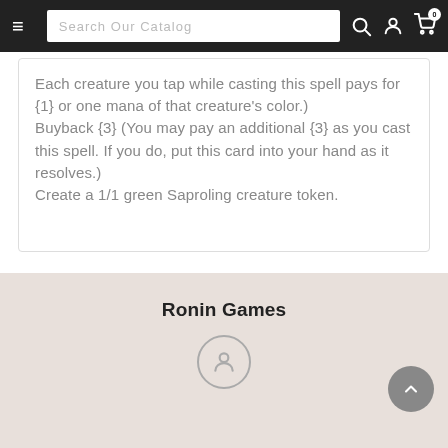Search Our Catalog
Each creature you tap while casting this spell pays for {1} or one mana of that creature's color.) Buyback {3} (You may pay an additional {3} as you cast this spell. If you do, put this card into your hand as it resolves.) Create a 1/1 green Saproling creature token.
Ronin Games